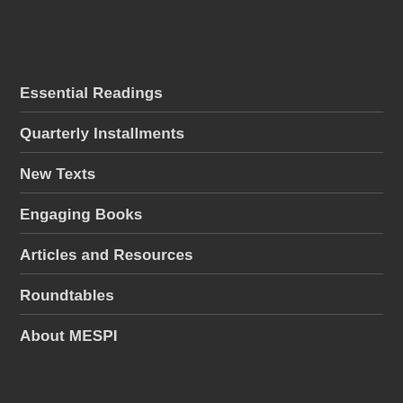Essential Readings
Quarterly Installments
New Texts
Engaging Books
Articles and Resources
Roundtables
About MESPI